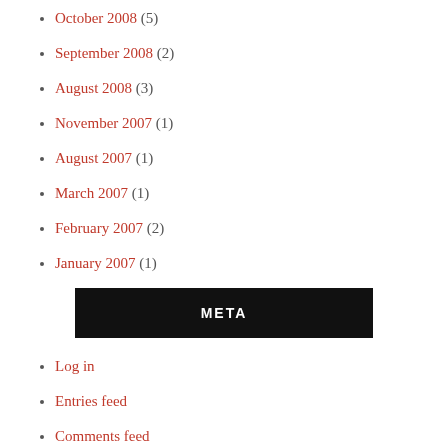October 2008 (5)
September 2008 (2)
August 2008 (3)
November 2007 (1)
August 2007 (1)
March 2007 (1)
February 2007 (2)
January 2007 (1)
META
Log in
Entries feed
Comments feed
WordPress.org